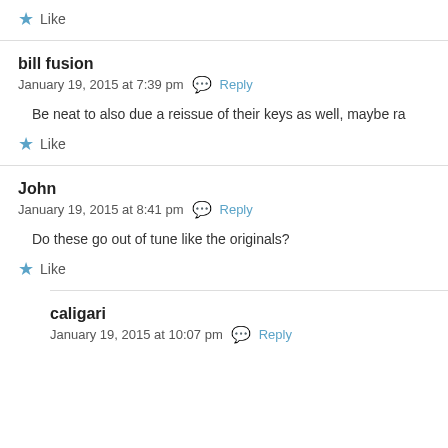Like
bill fusion
January 19, 2015 at 7:39 pm  Reply
Be neat to also due a reissue of their keys as well, maybe ra
Like
John
January 19, 2015 at 8:41 pm  Reply
Do these go out of tune like the originals?
Like
caligari
January 19, 2015 at 10:07 pm  Reply